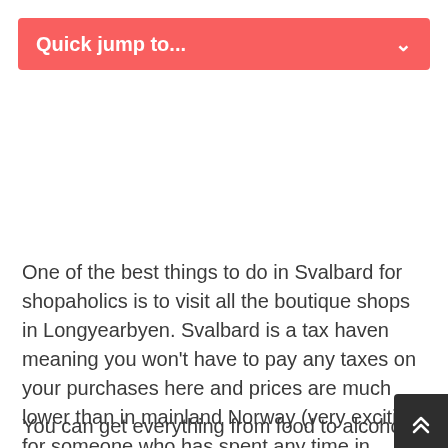Quick jump to...
One of the best things to do in Svalbard for shopaholics is to visit all the boutique shops in Longyearbyen. Svalbard is a tax haven meaning you won't have to pay any taxes on your purchases here and prices are much lower than in mainland Norway (very exciting for someone who has spent any time in Norway recently)!
You can get everything from food to alcohol, perfume